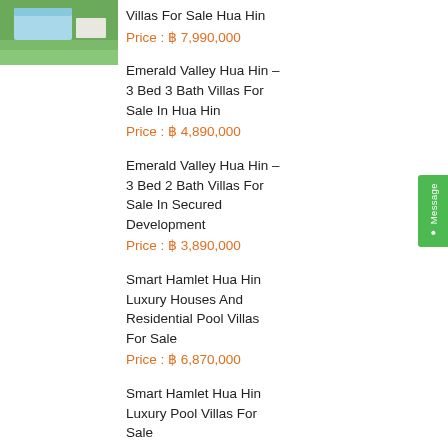[Figure (photo): Thumbnail photo of a villa with pool and green lawn]
Villas For Sale Hua Hin
Price : ฿ 7,990,000
Emerald Valley Hua Hin – 3 Bed 3 Bath Villas For Sale In Hua Hin
Price : ฿ 4,890,000
Emerald Valley Hua Hin – 3 Bed 2 Bath Villas For Sale In Secured Development
Price : ฿ 3,890,000
Smart Hamlet Hua Hin Luxury Houses And Residential Pool Villas For Sale
Price : ฿ 6,870,000
Smart Hamlet Hua Hin Luxury Pool Villas For Sale